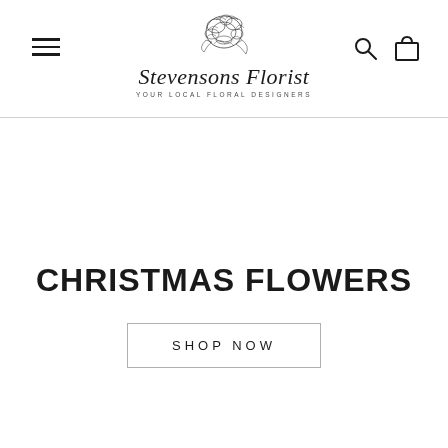Stevensons Florist — YOUR LOCAL FLORAL DESIGNERS
CHRISTMAS FLOWERS
SHOP NOW